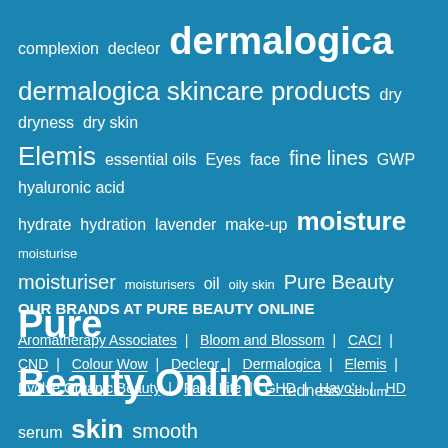[Figure (infographic): Tag cloud on blue background with skincare and beauty related terms in varying font sizes. Terms include: complexion, decleor, dermalogica (largest), dermalogica skincare products, dry, dryness, dry skin, Elemis, essential oils, Eyes, face, fine lines, GWP, hyaluronic acid, hydrate, hydration, lavender, make-up, moisture (large), moisturise, moisturiser, moisturisers, oil, oily skin, Pure Beauty, Pure Beauty Online (very large), redness, sebum, serum, skin (large), smooth, solar defence, special offer (large), SPF, spots, sun, Vitamin C, wrinkles]
OUR BRANDS AT PURE BEAUTY ONLINE
Aromatherapy Associates | Bloom and Blossom | CACI | CND | Colour Wow | Decleor | Dermalogica | Elemis | Evolve Organic Beauty | Face Lite | GHD | Hayo'u | HD